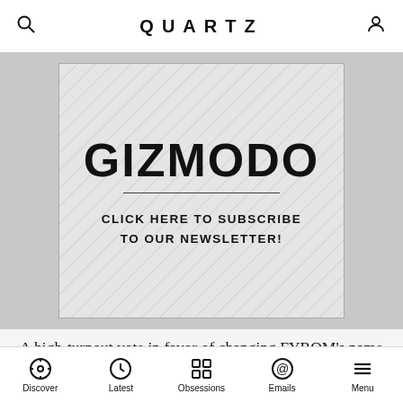QUARTZ
[Figure (other): Gizmodo newsletter advertisement banner with diagonal striped background. Shows 'GIZMODO' in large bold text, a horizontal divider line, and text 'CLICK HERE TO SUBSCRIBE TO OUR NEWSLETTER!']
A high-turnout vote in favor of changing FYROM’s name could have been a political gain for both Greek PM Alexis Tsipras and his left-wing Syriza party, and for the ruling center-left party, the Social Democratic Union of
Discover | Latest | Obsessions | Emails | Menu